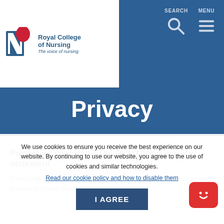[Figure (logo): Royal College of Nursing logo with blue N and red hand, text 'Royal College of Nursing – The voice of nursing']
SEARCH   MENU
Privacy
Protecting your data: The RCN Group privacy statement
Protecting your privacy is very important to us. So that you can feel in control of your personal information
We use cookies to ensure you receive the best experience on our website. By continuing to use our website, you agree to the use of cookies and similar technologies.
Read our cookie policy and how to disable them
I AGREE